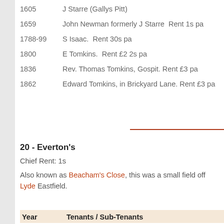1605    J Starre (Gallys Pitt)
1659    John Newman formerly J Starre  Rent 1s pa
1788-99    S Isaac.  Rent 30s pa
1800    E Tomkins.  Rent £2 2s pa
1836    Rev. Thomas Tomkins, Gospit. Rent £3 pa
1862    Edward Tomkins, in Brickyard Lane. Rent £3 pa
20 - Everton's
Chief Rent: 1s
Also known as Beacham's Close, this was a small field off Lyde Eastfield.
| Year | Tenants / Sub-Tenants |
| --- | --- |